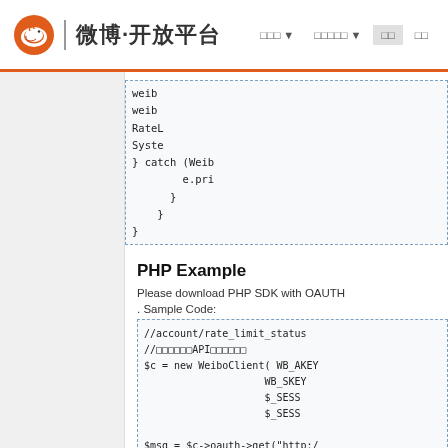微博·开放平台
[Figure (screenshot): Code block continuation showing Java/SDK code with catch block for WeiboException and closing braces]
PHP Example
Please download PHP SDK with OAUTH
. Sample Code:
[Figure (screenshot): PHP sample code block showing //account/rate_limit_status, WeiboClient instantiation with WB_AKEY, WB_SKEY, $_SESSION, oauth->get call, error handling, and isset checks]